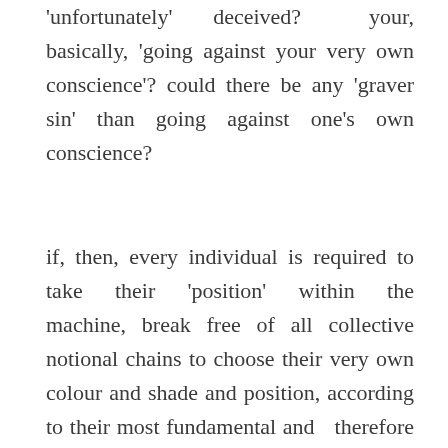'unfortunately' deceived? your, basically, 'going against your very own conscience'? could there be any 'graver sin' than going against one's own conscience?
if, then, every individual is required to take their 'position' within the machine, break free of all collective notional chains to choose their very own colour and shade and position, according to their most fundamental and therefore most likely 'true' conscience, and according to values that prove right throughout time-frames